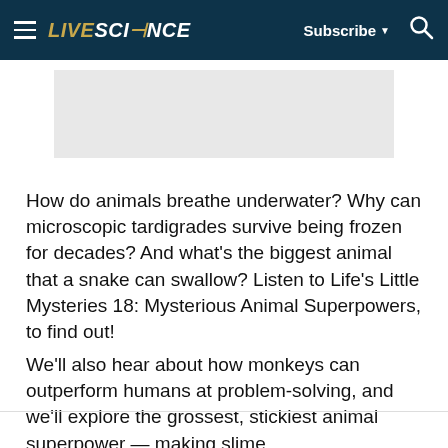LIVESCIENCE  Subscribe  🔍
[Figure (other): Advertisement placeholder banner (gray rectangle)]
How do animals breathe underwater? Why can microscopic tardigrades survive being frozen for decades? And what's the biggest animal that a snake can swallow? Listen to Life's Little Mysteries 18: Mysterious Animal Superpowers, to find out!
We'll also hear about how monkeys can outperform humans at problem-solving, and  we'll explore the grossest, stickiest animal superpower — making slime.